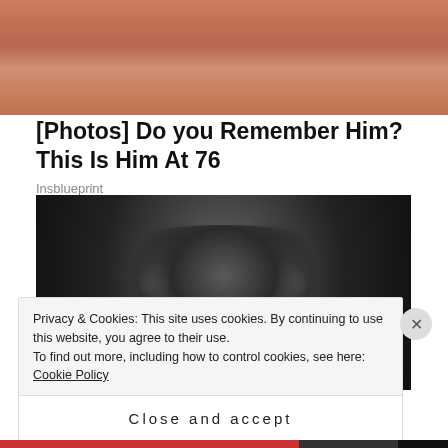[Figure (photo): Top portion of a photo showing a person's torso/skin, cropped at the top of the page]
[Photos] Do you Remember Him? This Is Him At 76
Insblueprint
[Figure (photo): Black and white close-up portrait of a person wearing round wire-frame glasses with long dark hair]
Privacy & Cookies: This site uses cookies. By continuing to use this website, you agree to their use.
To find out more, including how to control cookies, see here: Cookie Policy
Close and accept